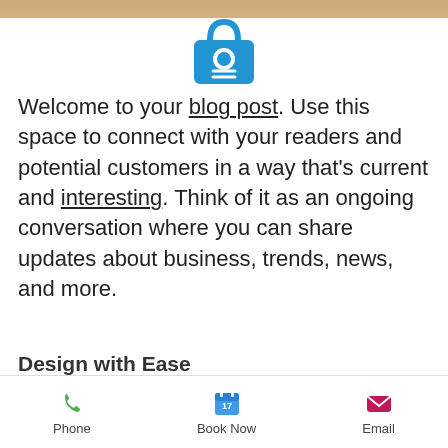[Figure (illustration): Blue shopping bag icon with a circle handle and horizontal lines in the center, on white background]
Welcome to your blog post. Use this space to connect with your readers and potential customers in a way that's current and interesting. Think of it as an ongoing conversation where you can share updates about business, trends, news, and more.
Design with Ease
[Figure (illustration): Row of social media icons: dark blue 4-arrow icon, Linktree (green), Instagram, YouTube (red), Curable, Facebook (dark blue), Twitter (blue)]
[Figure (illustration): Striped purple rounded rectangle button labeled 'Before Your Visit']
design in mind for your blog? Whether you prefer a
[Figure (illustration): Bottom app bar with Phone (green phone icon), Book Now (blue calendar icon showing 17), Email (pink envelope icon)]